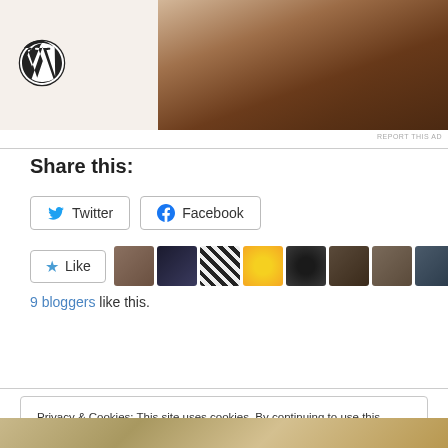[Figure (screenshot): WordPress advertisement banner with WP logo on left and laptop/hands photo on right against beige background]
REPORT THIS AD
Share this:
Twitter
Facebook
[Figure (screenshot): Like button with star and 9 blogger avatar thumbnails]
9 bloggers like this.
Privacy & Cookies: This site uses cookies. By continuing to use this website, you agree to their use.
To find out more, including how to control cookies, see here: Cookie Policy
Close and accept